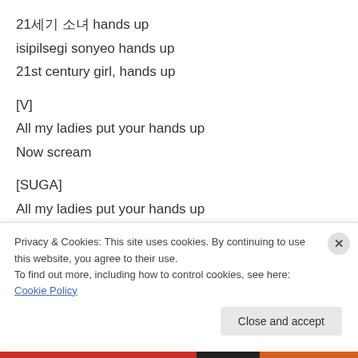21세기 소녀 hands up
isipilsegi sonyeo hands up
21st century girl, hands up
[V]
All my ladies put your hands up
Now scream
[SUGA]
All my ladies put your hands up
21세기 소녀 hands up
Privacy & Cookies: This site uses cookies. By continuing to use this website, you agree to their use. To find out more, including how to control cookies, see here: Cookie Policy